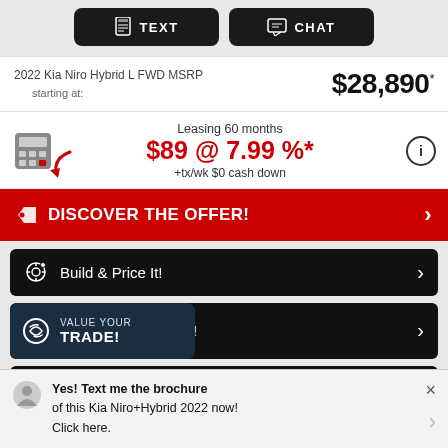[Figure (screenshot): Top buttons: TEXT and CHAT on dark background]
2022 Kia Niro Hybrid L FWD MSRP starting at: $28,890*
Leasing 60 months $89 @ 7.99 %* +tx/wk $0 cash down
DISCOVER THE OFFER!
Build & Price It!
Value your trade!
Your FREE credit score!
Yes! Text me the brochure of this Kia Niro+Hybrid 2022 now! Click here.